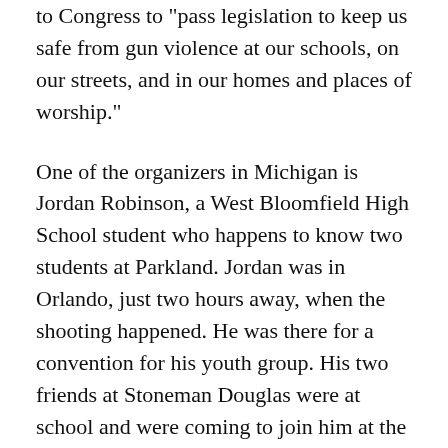to Congress to "pass legislation to keep us safe from gun violence at our schools, on our streets, and in our homes and places of worship."
One of the organizers in Michigan is Jordan Robinson, a West Bloomfield High School student who happens to know two students at Parkland. Jordan was in Orlando, just two hours away, when the shooting happened. He was there for a convention for his youth group. His two friends at Stoneman Douglas were at school and were coming to join him at the conference, as they had also attended together the summer before.
But then Jordan got a message from a fellow convention goer.
"She's like, 'Two of our friends are still inside there.' I'm